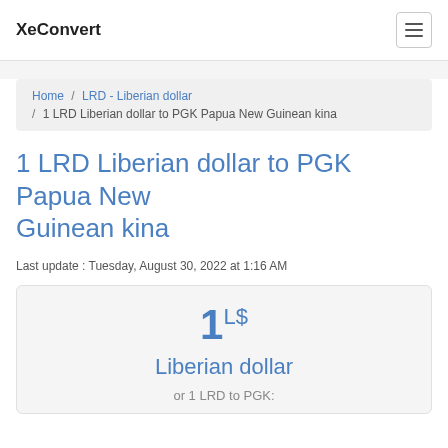XeConvert
Home / LRD - Liberian dollar / 1 LRD Liberian dollar to PGK Papua New Guinean kina
1 LRD Liberian dollar to PGK Papua New Guinean kina
Last update : Tuesday, August 30, 2022 at 1:16 AM
1 L$ Liberian dollar or 1 LRD to PGK: